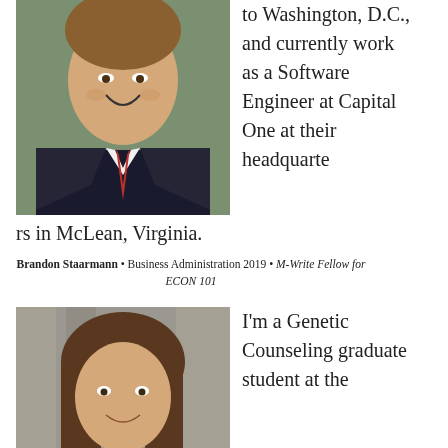[Figure (photo): Professional headshot of Brandon Staarmann, a young man in a dark suit with a red tie, smiling]
to Washington, D.C., and currently work as a Software Engineer at Capital One at their headquarters in McLean, Virginia.
Brandon Staarmann • Business Administration 2019 • M-Write Fellow for ECON 101
[Figure (photo): Headshot of a young woman with long brown hair, smiling, photographed outdoors]
I'm a Genetic Counseling graduate student at the